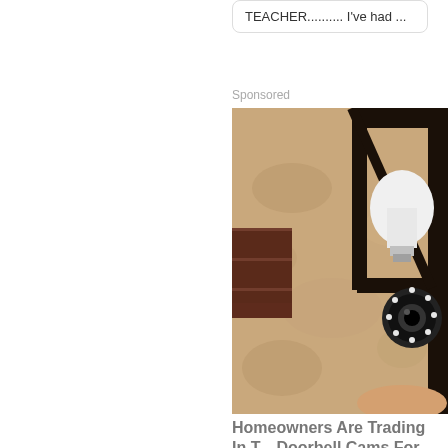TEACHER.......... I've had ...
Sponsored
[Figure (photo): Close-up photo of a security camera shaped like a light bulb screwed into an outdoor lamp fixture mounted on a textured stucco wall]
Homeowners Are Trading In T... Doorbell Cams For This
Camerca